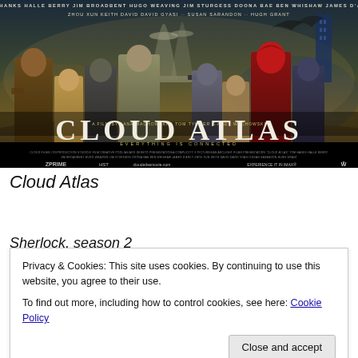[Figure (photo): Cloud Atlas movie poster showing cast of Tom Hanks, Halle Berry, Jim Broadbent, Hugo Weaving, Jim Sturgess, Doona Bae, Ben Whishaw, James D'Arcy, Zhou Xun, Keith David, David Gyasi, Susan Sarandon, Hugh Grant. Title reads CLOUD ATLAS with tagline EVERYTHING IS CONNECTED.]
Cloud Atlas
Sherlock, season 2
Privacy & Cookies: This site uses cookies. By continuing to use this website, you agree to their use.
To find out more, including how to control cookies, see here: Cookie Policy
Close and accept
The Neverending Story